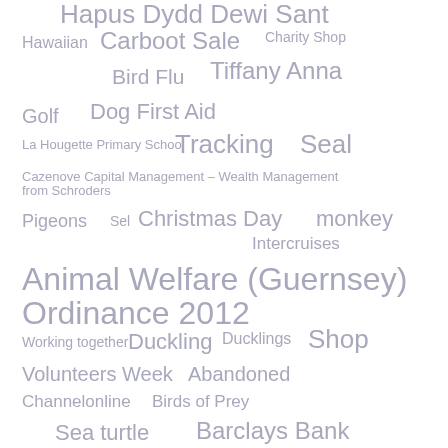[Figure (infographic): Tag cloud featuring various topics and organizations in different font sizes, all rendered in light grey. Terms include: Hapus Dydd Dewi Sant, Hawaiian, Carboot Sale, Charity Shop, Bird Flu, Tiffany Anna, Golf, Dog First Aid, La Hougette Primary School, Tracking, Seal, Cazenove Capital Management – Wealth Management from Schroders, Pigeons, Sel, Christmas Day, monkey, Intercruises, Animal Welfare (Guernsey) Ordinance 2012, Working together, Duckling, Ducklings, Shop, Volunteers Week, Abandoned, Channelonline, Birds of Prey, Sea turtle, Barclays Bank, Saffery Champness Rotary Walk, Freezer, Reflective, Dog cafe]